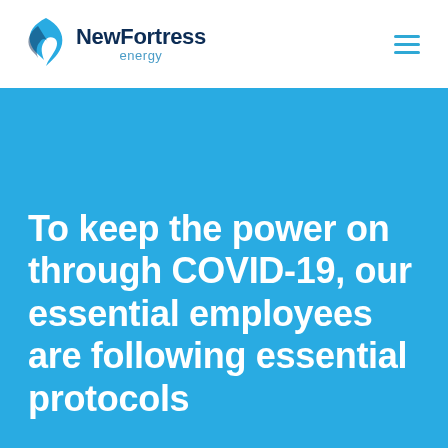NewFortress energy
To keep the power on through COVID-19, our essential employees are following essential protocols